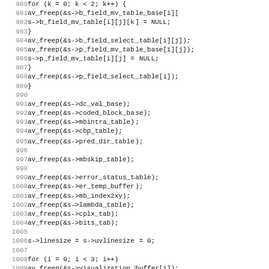[Figure (screenshot): Source code listing in monospace font showing C code lines 980-1011, with line numbers in gray on the left and code on the right. The code shows memory freeing operations using av_freep() and loop constructs.]